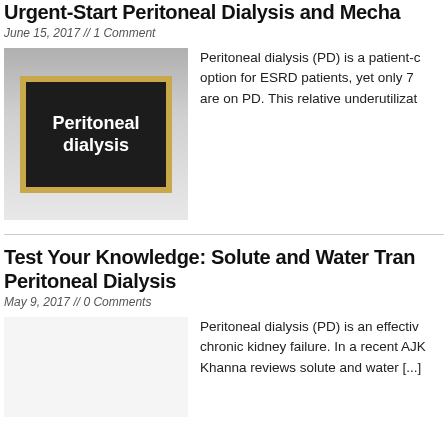Urgent-Start Peritoneal Dialysis and Mecha...
June 15, 2017 // 1 Comment
[Figure (photo): Person in white coat holding a blackboard sign that reads 'Peritoneal dialysis']
Peritoneal dialysis (PD) is a patient-c... option for ESRD patients, yet only 7... are on PD. This relative underutilizat...
Test Your Knowledge: Solute and Water Tran... Peritoneal Dialysis
May 9, 2017 // 0 Comments
Peritoneal dialysis (PD) is an effectiv... chronic kidney failure. In a recent AJK... Khanna reviews solute and water [...